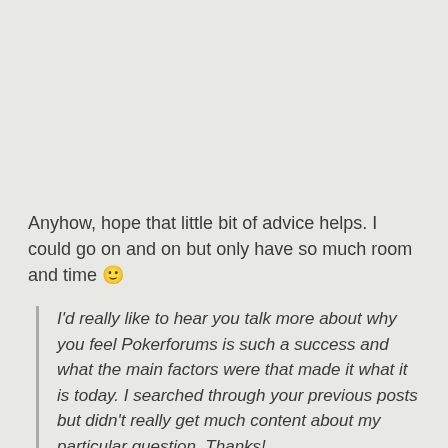Anyhow, hope that little bit of advice helps. I could go on and on but only have so much room and time 🙂
I'd really like to hear you talk more about why you feel Pokerforums is such a success and what the main factors were that made it what it is today. I searched through your previous posts but didn't really get much content about my particular question. Thanks!
I don't believe that PokerForums is a huge success, but I